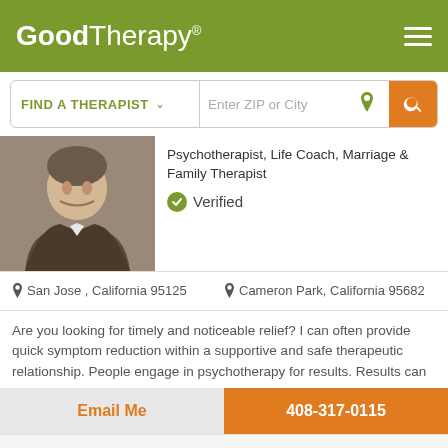GoodTherapy®
FIND A THERAPIST  Enter ZIP or City
Psychotherapist, Life Coach, Marriage & Family Therapist
Verified
San Jose , California 95125    Cameron Park, California 95682
Are you looking for timely and noticeable relief? I can often provide quick symptom reduction within a supportive and safe therapeutic relationship. People engage in psychotherapy for results. Results can
Email Me   408-317-0115
GoodTherapy uses cookies to personalize content and ads to provide better services for our users and to analyze our traffic. By continuing to use this site you consent to our cookies.